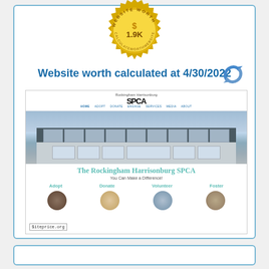[Figure (infographic): Gold seal badge with 'WEBSITE WORTH' text around the edge and '$ 1.9K' in the center with a dollar sign icon]
Website worth calculated at 4/30/2022
[Figure (screenshot): Screenshot of The Rockingham Harrisonburg SPCA website showing building photo, navigation menu, site title 'The Rockingham Harrisonburg SPCA', tagline 'You Can Make a Difference!', and action buttons: Adopt, Donate, Volunteer, Foster with circular photos below. siteprice.org watermark visible.]
[Figure (other): Partial bottom card/section visible at bottom of page]